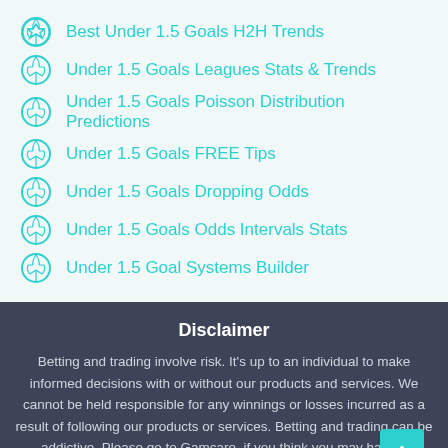Best Under 1.5 Goals H2H Trends
Under 1.5 Goals Leagues Stats & Trends
Under 1.5 Goals Poisson Distribution Predictions
Under 1.5 Goals FREE Tips
Under 1.5 Goals Dropping Odds
Under 1.5 Goals Odds Intervals Stats
Under 1.5 Goal Systems Builder
Disclaimer
Betting and trading involve risk. It's up to an individual to make informed decisions with or without our products and services. We cannot be held responsible for any winnings or losses incurred as a result of following our products or services. Betting and trading can be addictive. Please go to Gamcare, if you think you may have a problem.
Our partners